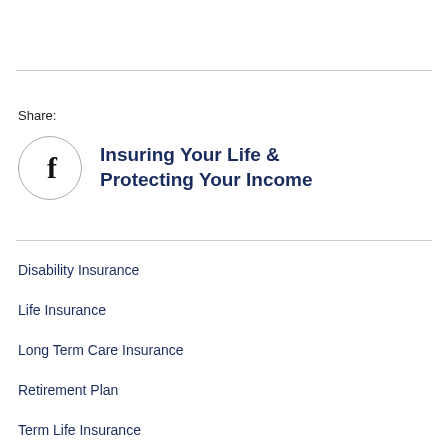Share:
[Figure (logo): Facebook logo circle icon with bold letter f]
Insuring Your Life & Protecting Your Income
Disability Insurance
Life Insurance
Long Term Care Insurance
Retirement Plan
Term Life Insurance